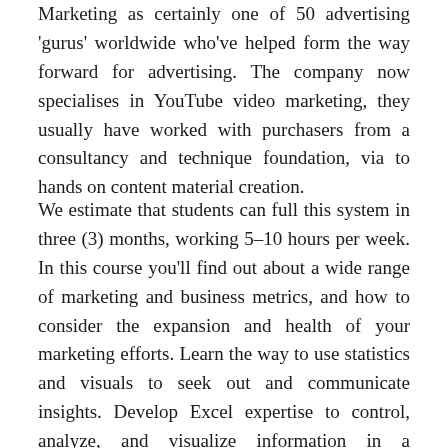Marketing as certainly one of 50 advertising 'gurus' worldwide who've helped form the way forward for advertising. The company now specialises in YouTube video marketing, they usually have worked with purchasers from a consultancy and technique foundation, via to hands on content material creation.
We estimate that students can full this system in three (3) months, working 5–10 hours per week. In this course you'll find out about a wide range of marketing and business metrics, and how to consider the expansion and health of your marketing efforts. Learn the way to use statistics and visuals to seek out and communicate insights. Develop Excel expertise to control, analyze, and visualize information in a spreadsheet. Build Excel models to research potential business outcomes.